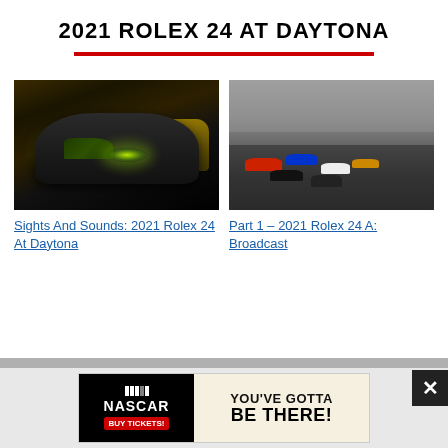2021 ROLEX 24 AT DAYTONA
[Figure (photo): Night racing scene with green-headlighted GT cars on track at the 2021 Rolex 24 At Daytona]
Sights And Sounds: 2021 Rolex 24 At Daytona
[Figure (photo): Daytime aerial view of multiple racing cars on the banked Daytona track with grandstands visible]
Part 1 – 2021 Rolex 24 A: Broadcast
[Figure (screenshot): NASCAR Buy Tickets advertisement banner with text YOU'VE GOTTA BE THERE!]